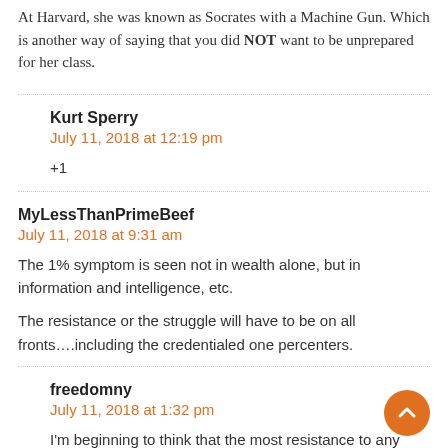At Harvard, she was known as Socrates with a Machine Gun. Which is another way of saying that you did NOT want to be unprepared for her class.
Kurt Sperry
July 11, 2018 at 12:19 pm
+1
MyLessThanPrimeBeef
July 11, 2018 at 9:31 am
The 1% symptom is seen not in wealth alone, but in information and intelligence, etc.
The resistance or the struggle will have to be on all fronts….including the credentialed one percenters.
freedomny
July 11, 2018 at 1:32 pm
I'm beginning to think that the most resistance to any